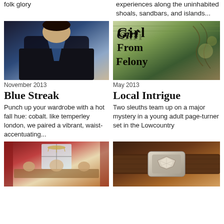folk glory
experiences along the uninhabited shoals, sandbars, and islands...
[Figure (photo): Fashion photo of person wearing black coat over blue shirt]
November 2013
Blue Streak
Punch up your wardrobe with a hot fall hue: cobalt. like temperley london, we paired a vibrant, waist-accentuating...
[Figure (photo): Book cover reading 'Girl From Felony' with illustrated artwork]
May 2013
Local Intrigue
Two sleuths team up on a major mystery in a young adult page-turner set in the Lowcountry
[Figure (photo): People dining at a table in a red-walled room with chandelier]
[Figure (photo): Close-up of leather belt with decorative buckle]